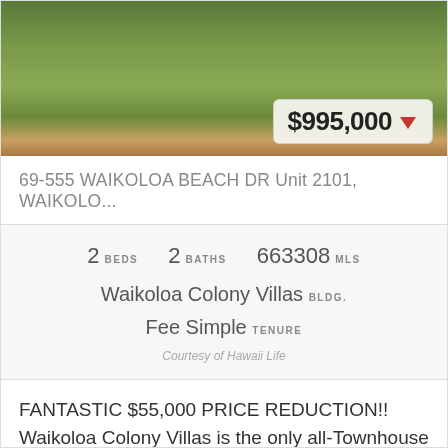[Figure (photo): Outdoor photo of a property showing green lawn and landscaping with a path or road visible]
$995,000 ▼
69-555 WAIKOLOA BEACH DR Unit 2101, WAIKOLO...
2 BEDS   2 BATHS   663308 MLS
Waikoloa Colony Villas BLDG.
Fee Simple TENURE
Courtesy of Hawaii Life
FANTASTIC $55,000 PRICE REDUCTION!! Waikoloa Colony Villas is the only all-Townhouse floor plan community (with no one above or below) in the entire Waikoloa Beach Reso...